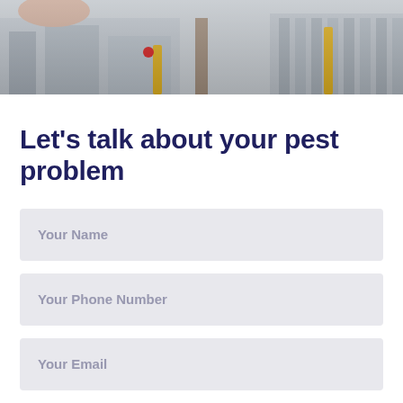[Figure (photo): Urban outdoor photo showing a hand, buildings, and street bollards in muted grey tones]
Let's talk about your pest problem
Your Name
Your Phone Number
Your Email